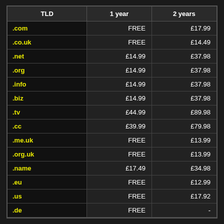| TLD | 1 year | 2 years |
| --- | --- | --- |
| .com | FREE | £17.99 |
| .co.uk | FREE | £14.49 |
| .net | £14.99 | £37.98 |
| .org | £14.99 | £37.98 |
| .info | £14.99 | £37.98 |
| .biz | £14.99 | £37.98 |
| .tv | £44.99 | £89.98 |
| .cc | £39.99 | £79.98 |
| .me.uk | FREE | £13.99 |
| .org.uk | FREE | £13.99 |
| .name | £17.49 | £34.98 |
| .eu | FREE | £12.99 |
| .us | FREE | £17.92 |
| .de | FREE | - |